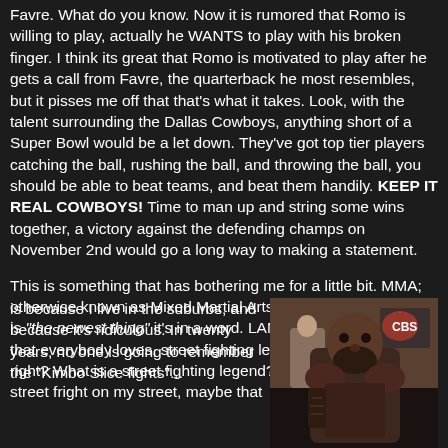Favre. What do you know. Now it is rumored that Romo is willing to play, actually he WANTS to play with his broken finger. I think its great that Romo is motivated to play after he gets a call from Favre, the quarterback he most resembles, but it pisses me off that that's what it takes. Look, with the talent surrounding the Dallas Cowboys, anything short of a Super Bowl would be a let down. They've got top tier players catching the ball, rushing the ball, and throwing the ball, you should be able to beat teams, and beat them handily. KEEP IT REAL COWBOYS! Time to man up and string some wins together, a victory against the defending champs on November 2nd would go a long way to making a statement.
This is something that has bothering me for a little bit. MMA; otherwise known as Mixed Martial Arts. I don't care if the sport is "the newest thing" it's in a word. LAME. Now the new guy that everybody loves, street fighting legend, Kimbo Slice, right? What is a street fighting legend? I've never seen a street fright on my street, maybe that is because I live in the suburbs, and because it's ridiculous. In twenty years, no one is going to remember the "Kimbo Slice fights"...
[Figure (photo): Photo of Kimbo Slice, a large muscular man with a beard, wearing fighting attire, in what appears to be a fighting venue or gym setting]